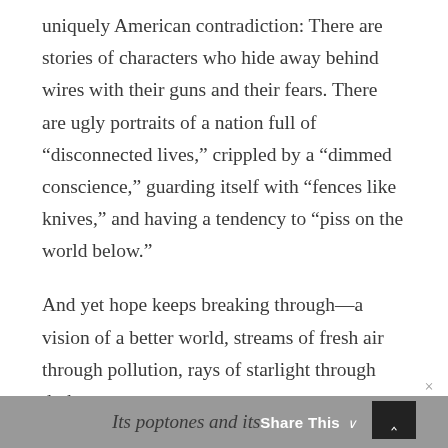uniquely American contradiction: There are stories of characters who hide away behind wires with their guns and their fears. There are ugly portraits of a nation full of “disconnected lives,” crippled by a “dimmed conscience,” guarding itself with “fences like knives,” and having a tendency to “piss on the world below.”
And yet hope keeps breaking through—a vision of a better world, streams of fresh air through pollution, rays of starlight through darkness:
You know how sometimes
You’re so tired of the country
Its poptones and its...
Its poptones and its Share This